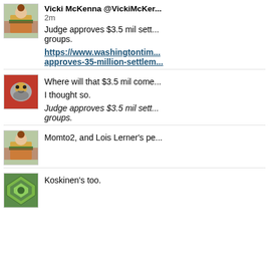[Figure (photo): Profile photo of Vicki McKenna - person in costume with green sash]
Vicki McKenna @VickiMcKen... 2m
Judge approves $3.5 mil settlement... groups.
https://www.washingtontim... approves-35-million-settlem...
[Figure (photo): Profile photo of a small dog dressed in costume]
Where will that $3.5 mil come...
I thought so.
Judge approves $3.5 mil sett... groups.
[Figure (photo): Profile photo of person in costume with green sash]
Momto2, and Lois Lerner's pe...
[Figure (photo): Profile photo - green geometric design]
Koskinen's too.